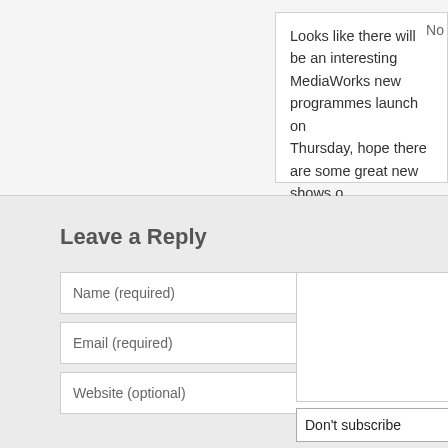Looks like there will be an interesting MediaWorks new programmes launch on Thursday, hope there are some great new shows o
Leave a Reply
Name (required)
Email (required)
Website (optional)
Don't subscribe  ∨  Notify me ... mail. You can also subscribe without comm
Submit Comment